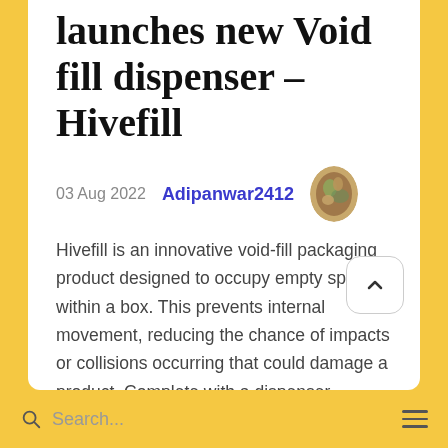launches new Void fill dispenser – Hivefill
03 Aug 2022   Adipanwar2412
Hivefill is an innovative void-fill packaging product designed to occupy empty spaces within a box. This prevents internal movement, reducing the chance of impacts or collisions occurring that could damage a product. Complete with a dispenser specially designed for ease of use with Hive paper, the complete
Search...